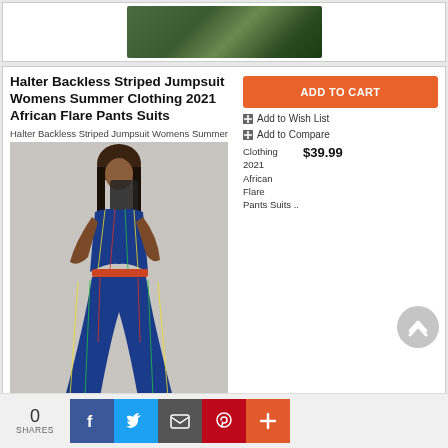[Figure (photo): Partial photo of a person wearing a dark skirt, standing outdoors on grass]
Halter Backless Striped Jumpsuit Womens Summer Clothing 2021 African Flare Pants Suits
Halter Backless Striped Jumpsuit Womens Summer
[Figure (photo): Woman wearing a colorful striped halter backless jumpsuit with flare pants, taking a mirror selfie]
ADD TO CART
Add to Wish List
Add to Compare
Clothing 2021 African Flare Pants Suits ..  $39.99
0 SHARES
f  Twitter  Email  Pinterest  +